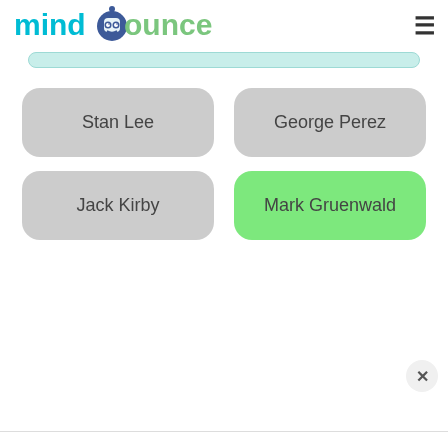[Figure (logo): Mindbounce logo with colorful text and robot face icon]
Stan Lee
George Perez
Jack Kirby
Mark Gruenwald